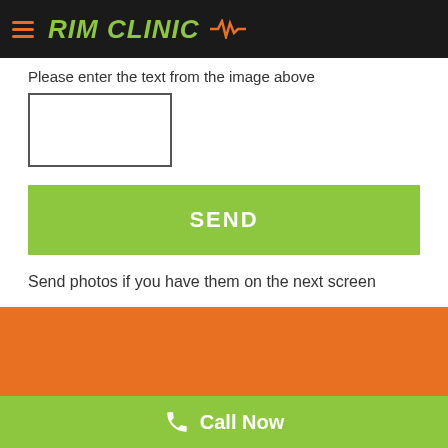RIM CLINIC
Please enter the text from the image above
[Figure (other): CAPTCHA input box — empty white rectangle with border]
[Figure (other): Green SEND button]
Send photos if you have them on the next screen
[Figure (other): Orange banner/advertisement block]
Other great companies that we work in O`Connor:
Emergency Possum Removal O`Connor
Emergency Plumber O`Connor
Call Now